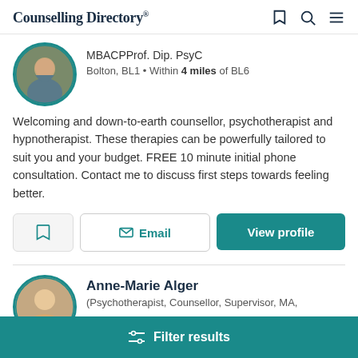Counselling Directory
MBACPProf. Dip. PsyC
Bolton, BL1 • Within 4 miles of BL6
Welcoming and down-to-earth counsellor, psychotherapist and hypnotherapist. These therapies can be powerfully tailored to suit you and your budget. FREE 10 minute initial phone consultation. Contact me to discuss first steps towards feeling better.
Email
View profile
Anne-Marie Alger
(Psychotherapist, Counsellor, Supervisor, MA,
Filter results